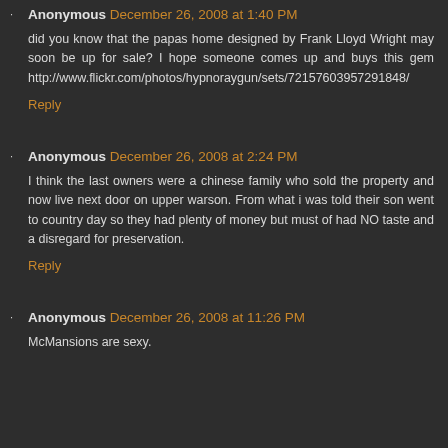Anonymous December 26, 2008 at 1:40 PM
did you know that the papas home designed by Frank Lloyd Wright may soon be up for sale? I hope someone comes up and buys this gem http://www.flickr.com/photos/hypnoraygun/sets/72157603957291848/
Reply
Anonymous December 26, 2008 at 2:24 PM
I think the last owners were a chinese family who sold the property and now live next door on upper warson. From what i was told their son went to country day so they had plenty of money but must of had NO taste and a disregard for preservation.
Reply
Anonymous December 26, 2008 at 11:26 PM
McMansions are sexy.